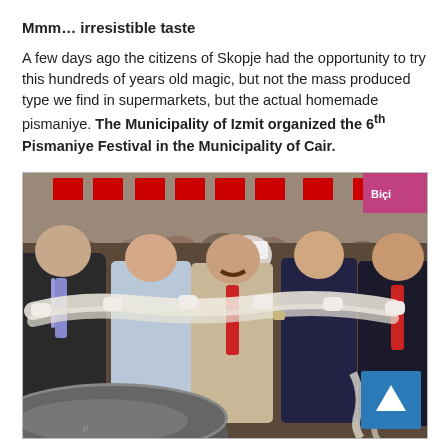Mmm… irresistible taste
A few days ago the citizens of Skopje had the opportunity to try this hundreds of years old magic, but not the mass produced type we find in supermarkets, but the actual homemade pismaniye. The Municipality of Izmit organized the 6th Pismaniye Festival in the Municipality of Cair.
[Figure (photo): Several men in formal attire stretching pismaniye (Turkish cotton candy/candy floss) dough between their hands at an outdoor festival, with red Turkish flags hanging in the background above a crowd. A large metal pot is visible in the foreground. A blue arrow-up button is overlaid in the bottom-right corner.]